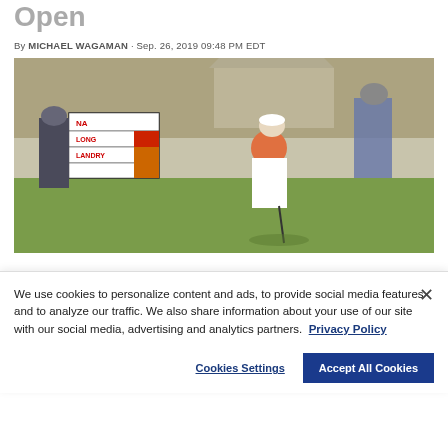Open
By MICHAEL WAGAMAN · Sep. 26, 2019 09:48 PM EDT
[Figure (photo): A golfer in a red shirt and white pants putting on a green, with a scoreboard showing NA, LONG, LANDRY and spectators in the background.]
We use cookies to personalize content and ads, to provide social media features and to analyze our traffic. We also share information about your use of our site with our social media, advertising and analytics partners. Privacy Policy
Cookies Settings | Accept All Cookies